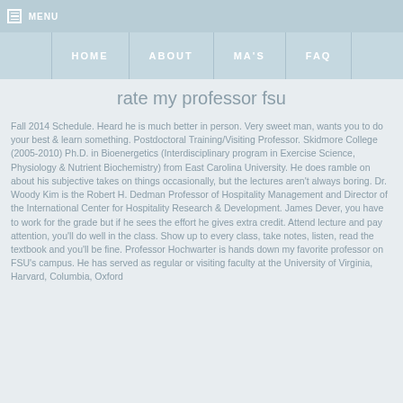MENU
HOME   ABOUT   MA'S   FAQ
rate my professor fsu
Fall 2014 Schedule. Heard he is much better in person. Very sweet man, wants you to do your best & learn something. Postdoctoral Training/Visiting Professor. Skidmore College (2005-2010) Ph.D. in Bioenergetics (Interdisciplinary program in Exercise Science, Physiology & Nutrient Biochemistry) from East Carolina University. He does ramble on about his subjective takes on things occasionally, but the lectures aren't always boring. Dr. Woody Kim is the Robert H. Dedman Professor of Hospitality Management and Director of the International Center for Hospitality Research & Development. James Dever, you have to work for the grade but if he sees the effort he gives extra credit. Attend lecture and pay attention, you'll do well in the class. Show up to every class, take notes, listen, read the textbook and you'll be fine. Professor Hochwarter is hands down my favorite professor on FSU's campus. He has served as regular or visiting faculty at the University of Virginia, Harvard, Columbia, Oxford